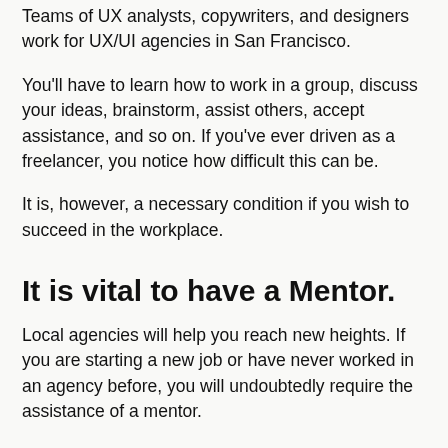Teams of UX analysts, copywriters, and designers work for UX/UI agencies in San Francisco.
You'll have to learn how to work in a group, discuss your ideas, brainstorm, assist others, accept assistance, and so on. If you've ever driven as a freelancer, you notice how difficult this can be.
It is, however, a necessary condition if you wish to succeed in the workplace.
It is vital to have a Mentor.
Local agencies will help you reach new heights. If you are starting a new job or have never worked in an agency before, you will undoubtedly require the assistance of a mentor.
This is a senior designer with previous experience at this company. They will become your guide and friend, assisting you with all of your needs and ensuring that the variety of